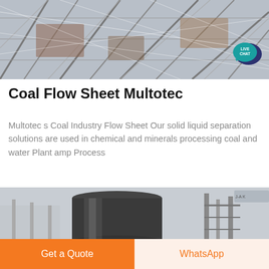[Figure (photo): Aerial or close-up view of a coal or mining screening/separation structure with metal mesh frameworks and industrial equipment]
Coal Flow Sheet Multotec
Multotec s Coal Industry Flow Sheet Our solid liquid separation solutions are used in chemical and minerals processing coal and water Plant amp Process
[Figure (photo): Industrial processing plant showing large dark cylindrical tank/vessel and metal framework structures]
Get a Quote
WhatsApp